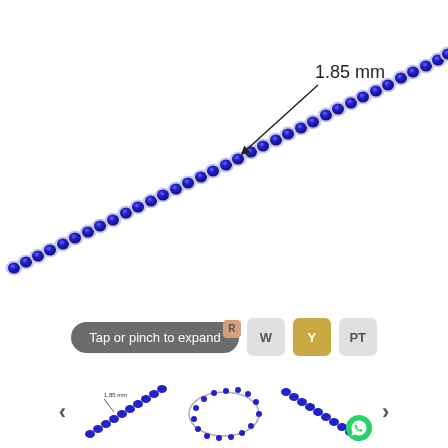[Figure (photo): Close-up of a blue gemstone tennis bracelet with silver prong settings, shown diagonally across a white background. A measurement annotation reads '1.85 mm' pointing to a single stone.]
1.85 mm
[Figure (screenshot): UI controls row: 'Tap or pinch to expand' button with R badge, followed by metal color selector buttons: W (white), Y (yellow gold selected), PT (platinum)]
[Figure (photo): Three thumbnail images of the bracelet: left thumbnail shows angled close-up with '1.85 mm' label, center shows full bracelet oval from above, right shows angled close-up. Navigation arrows on each side. WhatsApp icon near third thumbnail.]